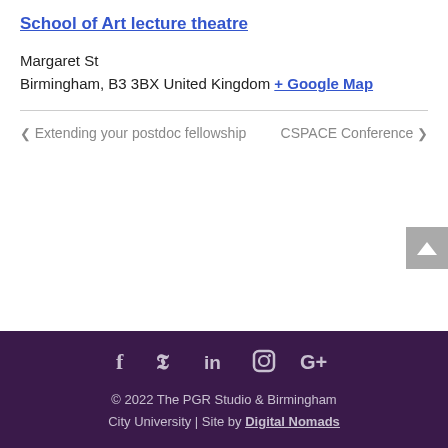School of Art lecture theatre
Margaret St
Birmingham, B3 3BX United Kingdom + Google Map
< Extending your postdoc fellowship   CSPACE Conference >
© 2022 The PGR Studio & Birmingham City University | Site by Digital Nomads